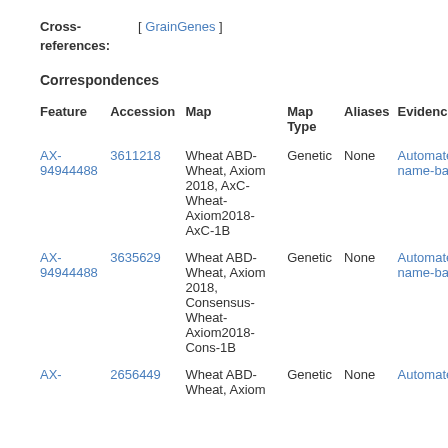Cross-references: [ GrainGenes ]
Correspondences
| Feature | Accession | Map | Map Type | Aliases | Evidence |
| --- | --- | --- | --- | --- | --- |
| AX-94944488 | 3611218 | Wheat ABD-Wheat, Axiom 2018, AxC-Wheat-Axiom2018-AxC-1B | Genetic | None | Automated name-base |
| AX-94944488 | 3635629 | Wheat ABD-Wheat, Axiom 2018, Consensus-Wheat-Axiom2018-Cons-1B | Genetic | None | Automated name-base |
| AX- | 2656449 | Wheat ABD-Wheat, Axiom | Genetic | None | Automated |